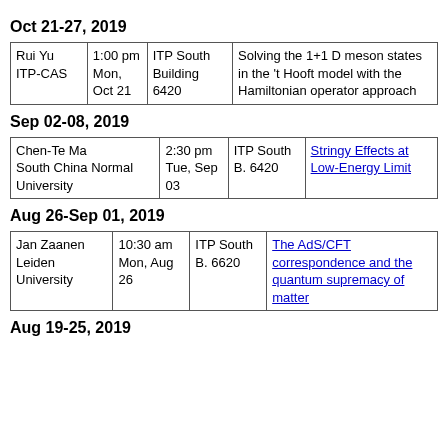Oct 21-27, 2019
| Name | Time | Location | Title |
| --- | --- | --- | --- |
| Rui Yu ITP-CAS | 1:00 pm Mon, Oct 21 | ITP South Building 6420 | Solving the 1+1 D meson states in the 't Hooft model with the Hamiltonian operator approach |
Sep 02-08, 2019
| Name | Time | Location | Title |
| --- | --- | --- | --- |
| Chen-Te Ma South China Normal University | 2:30 pm Tue, Sep 03 | ITP South B. 6420 | Stringy Effects at Low-Energy Limit |
Aug 26-Sep 01, 2019
| Name | Time | Location | Title |
| --- | --- | --- | --- |
| Jan Zaanen Leiden University | 10:30 am Mon, Aug 26 | ITP South B. 6620 | The AdS/CFT correspondence and the quantum supremacy of matter |
Aug 19-25, 2019